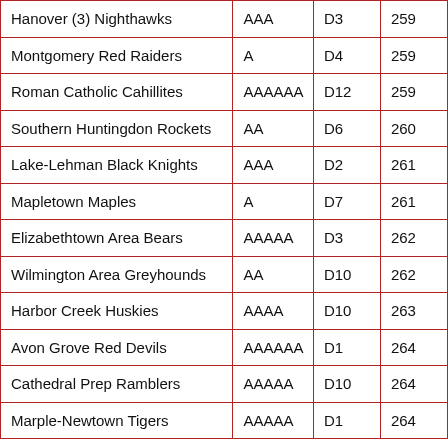| Hanover (3) Nighthawks | AAA | D3 | 259 |
| Montgomery Red Raiders | A | D4 | 259 |
| Roman Catholic Cahillites | AAAAAA | D12 | 259 |
| Southern Huntingdon Rockets | AA | D6 | 260 |
| Lake-Lehman Black Knights | AAA | D2 | 261 |
| Mapletown Maples | A | D7 | 261 |
| Elizabethtown Area Bears | AAAAA | D3 | 262 |
| Wilmington Area Greyhounds | AA | D10 | 262 |
| Harbor Creek Huskies | AAAA | D10 | 263 |
| Avon Grove Red Devils | AAAAAA | D1 | 264 |
| Cathedral Prep Ramblers | AAAAA | D10 | 264 |
| Marple-Newtown Tigers | AAAAA | D1 | 264 |